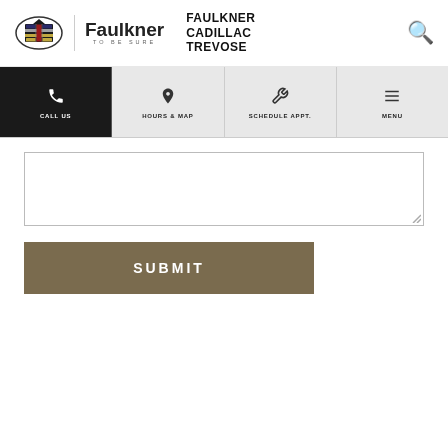[Figure (logo): Cadillac wreath and crest logo, Faulkner logo with tagline 'TO BE SURE', Faulkner Cadillac Trevose text, and search icon in header]
CALL US | HOURS & MAP | SCHEDULE APPT. | MENU
[Figure (screenshot): Empty textarea input field with resize handle]
SUBMIT